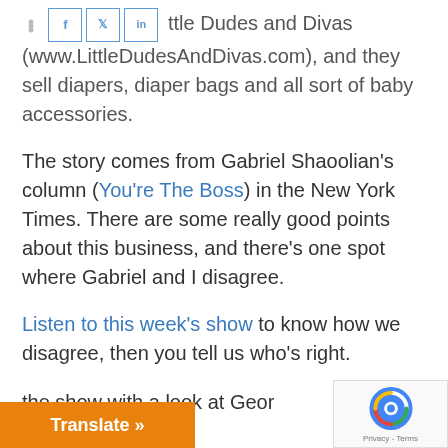The business is Little Dudes and Divas (www.LittleDudesAndDivas.com), and they sell diapers, diaper bags and all sort of baby accessories.
The story comes from Gabriel Shaoolian's column (You're The Boss) in the New York Times. There are some really good points about this business, and there's one spot where Gabriel and I disagree.
Listen to this week's show to know how we disagree, then you tell us who's right.
the show with a look at Geor